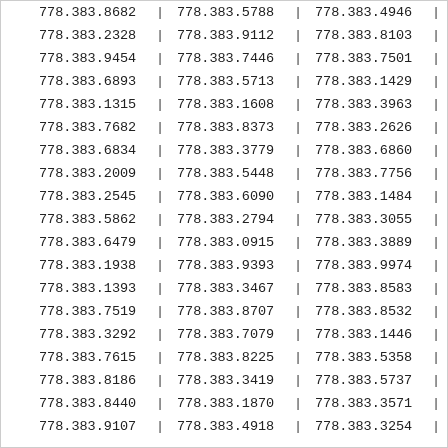| 778.383.8682 | | | 778.383.5788 | | | 778.383.4946 | | |
| 778.383.2328 | | | 778.383.9112 | | | 778.383.8103 | | |
| 778.383.9454 | | | 778.383.7446 | | | 778.383.7501 | | |
| 778.383.6893 | | | 778.383.5713 | | | 778.383.1429 | | |
| 778.383.1315 | | | 778.383.1608 | | | 778.383.3963 | | |
| 778.383.7682 | | | 778.383.8373 | | | 778.383.2626 | | |
| 778.383.6834 | | | 778.383.3779 | | | 778.383.6860 | | |
| 778.383.2009 | | | 778.383.5448 | | | 778.383.7756 | | |
| 778.383.2545 | | | 778.383.6090 | | | 778.383.1484 | | |
| 778.383.5862 | | | 778.383.2794 | | | 778.383.3055 | | |
| 778.383.6479 | | | 778.383.0915 | | | 778.383.3889 | | |
| 778.383.1938 | | | 778.383.9393 | | | 778.383.9974 | | |
| 778.383.1393 | | | 778.383.3467 | | | 778.383.8583 | | |
| 778.383.7519 | | | 778.383.8707 | | | 778.383.8532 | | |
| 778.383.3292 | | | 778.383.7079 | | | 778.383.1446 | | |
| 778.383.7615 | | | 778.383.8225 | | | 778.383.5358 | | |
| 778.383.8186 | | | 778.383.3419 | | | 778.383.5737 | | |
| 778.383.8440 | | | 778.383.1870 | | | 778.383.3571 | | |
| 778.383.9107 | | | 778.383.4918 | | | 778.383.3254 | | |